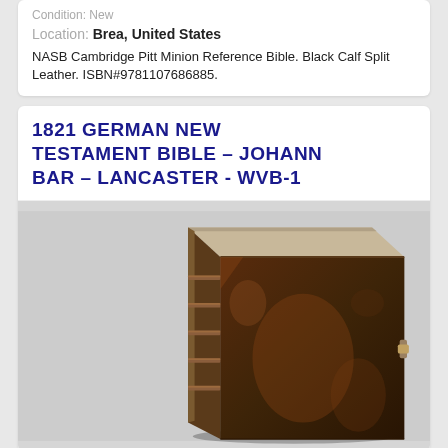Condition: New
Location: Brea, United States
NASB Cambridge Pitt Minion Reference Bible. Black Calf Split Leather. ISBN#9781107686885.
1821 GERMAN NEW TESTAMENT BIBLE - JOHANN BAR – LANCASTER - WVB-1
[Figure (photo): Photograph of an antique leather-bound Bible standing upright, showing the spine and front cover. The book has dark brown aged leather with visible wear, raised bands on the spine, and a brass clasp on the right side.]